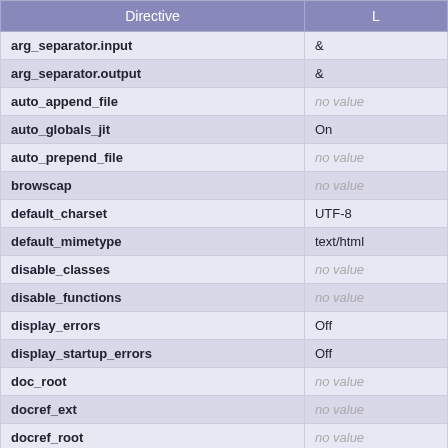| Directive | L |
| --- | --- |
| arg_separator.input | & |
| arg_separator.output | & |
| auto_append_file | no value |
| auto_globals_jit | On |
| auto_prepend_file | no value |
| browscap | no value |
| default_charset | UTF-8 |
| default_mimetype | text/html |
| disable_classes | no value |
| disable_functions | no value |
| display_errors | Off |
| display_startup_errors | Off |
| doc_root | no value |
| docref_ext | no value |
| docref_root | no value |
| enable_dl | Off |
| enable_post_data_reading | On |
| error_append_string | no value |
| error_log | no value |